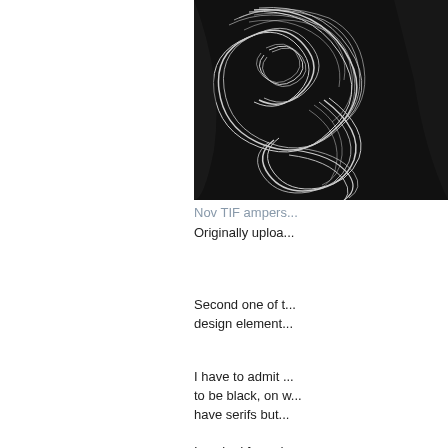[Figure (photo): Black and white artistic image of a large decorative ampersand character with swirling woodcut-style lines, partially cropped on the right side of the page.]
Nov TIF ampers...
Originally uploa...
Second one of ... design element...
I have to admit ... to be black, on w... have serifs but...
I worked for a d... was lucky to be... about which typ... sizes of maps w... same kind of al...